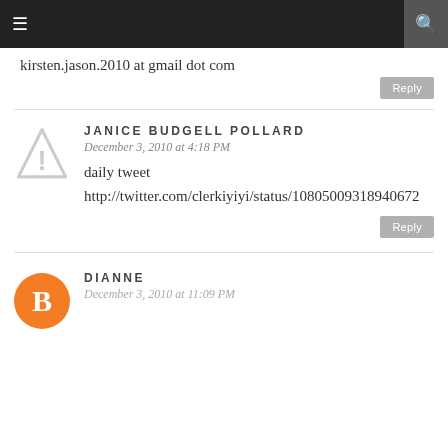≡  🔍
kirsten.jason.2010 at gmail dot com
Reply
JANICE BUDGELL POLLARD
December 3, 2010 at 4:18 PM
daily tweet http://twitter.com/clerkiyiyi/status/10805009318940672
Reply
DIANNE
December 3, 2010 at 11:09 PM